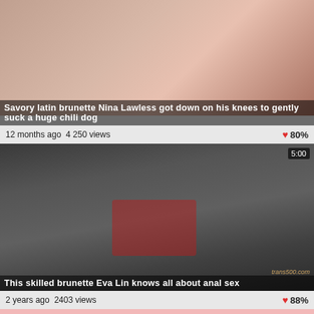[Figure (photo): Video thumbnail 1: Savory latin brunette Nina Lawless got down on his knees to gently suck a huge chili dog]
Savory latin brunette Nina Lawless got down on his knees to gently suck a huge chili dog
12 months ago  4 250 views   ♥80%
[Figure (photo): Video thumbnail 2: This skilled brunette Eva Lin knows all about anal sex. Duration 5:00. Watermark: trans500.com]
This skilled brunette Eva Lin knows all about anal sex
2 years ago  2403 views   ♥88%
SHEMALE PORN
2008-2021 © Shemale Porn Tube / Contact us : ICQ 7028-six-8564
Disclaimer: All models on this website are 18 years or older. We has a zero-tolerance policy against ILLEGAL pornography, if you see something illegal, please email us abuse(at)legaldepartment1.info and we will remove it ASAP. This website is labeled with ICRA, parents protect your kids.